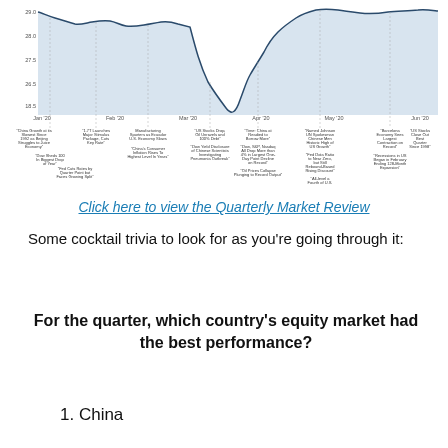[Figure (continuous-plot): Line chart showing market index (approximately 18.5 to 29.0 range) over time from Jan to Jun, with annotated news headlines at various points along the timeline. The chart shows a sharp drop and recovery. X-axis labels include Jan, Feb, Mar, Apr, May, Jun with specific dates. Multiple small text annotations reference news events such as China growth data, stimulus packages, manufacturing, Fed rate decisions, oil prices, and economic indicators.]
Click here to view the Quarterly Market Review
Some cocktail trivia to look for as you're going through it:
For the quarter, which country's equity market had the best performance?
1. China